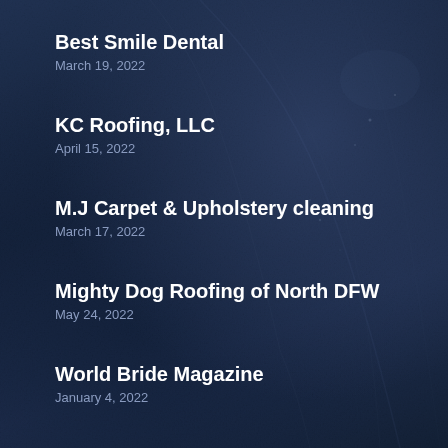Best Smile Dental
March 19, 2022
KC Roofing, LLC
April 15, 2022
M.J Carpet & Upholstery cleaning
March 17, 2022
Mighty Dog Roofing of North DFW
May 24, 2022
World Bride Magazine
January 4, 2022